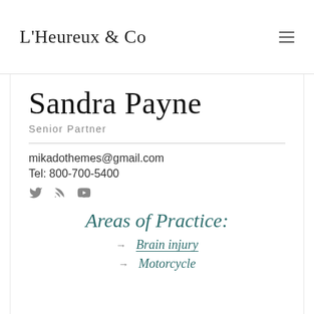L'Heureux & Co
Sandra Payne
Senior Partner
mikadothemes@gmail.com
Tel: 800-700-5400
[Figure (infographic): Social media icons: Twitter bird, RSS feed, YouTube play button]
Areas of Practice:
→ Brain injury
→ Motorcycle